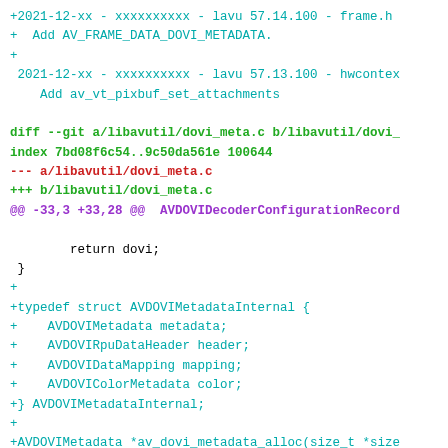[Figure (screenshot): A git diff / changelog code block showing additions to libavutil/dovi_meta.c including a new AVDOVIMetadataInternal struct typedef and av_dovi_metadata_alloc function. Lines are syntax-highlighted in cyan for additions, red for removed lines, purple for function names, and green for git diff metadata headers.]